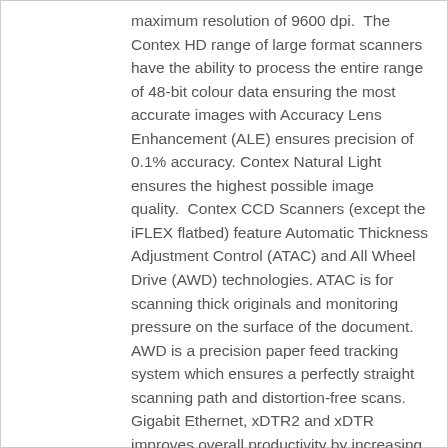maximum resolution of 9600 dpi.  The Contex HD range of large format scanners have the ability to process the entire range of 48-bit colour data ensuring the most accurate images with Accuracy Lens Enhancement (ALE) ensures precision of 0.1% accuracy.  Contex Natural Light ensures the highest possible image quality.  Contex CCD Scanners (except the iFLEX flatbed) feature Automatic Thickness Adjustment Control (ATAC) and All Wheel Drive (AWD) technologies. ATAC is for scanning thick originals and monitoring pressure on the surface of the document.  AWD is a precision paper feed tracking system which ensures a perfectly straight scanning path and distortion-free scans.  Gigabit Ethernet, xDTR2 and xDTR improves overall productivity by increasing the data transfer